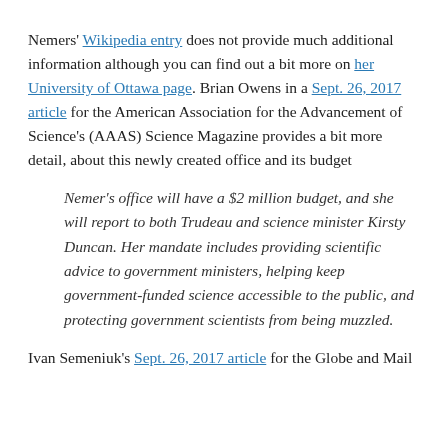Nemers' Wikipedia entry does not provide much additional information although you can find out a bit more on her University of Ottawa page. Brian Owens in a Sept. 26, 2017 article for the American Association for the Advancement of Science's (AAAS) Science Magazine provides a bit more detail, about this newly created office and its budget
Nemer's office will have a $2 million budget, and she will report to both Trudeau and science minister Kirsty Duncan. Her mandate includes providing scientific advice to government ministers, helping keep government-funded science accessible to the public, and protecting government scientists from being muzzled.
Ivan Semeniuk's Sept. 26, 2017 article for the Globe and Mail